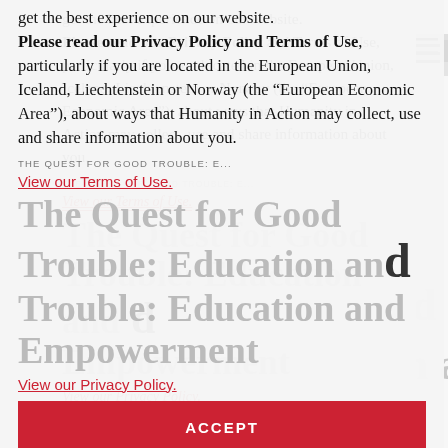get the best experience on our website. Please read our Privacy Policy and Terms of Use, particularly if you are located in the European Union, Iceland, Liechtenstein or Norway (the “European Economic Area”), about ways that Humanity in Action may collect, use and share information about you.
View our Terms of Use.
View our Privacy Policy.
ACCEPT
THE QUEST FOR GOOD TROUBLE: E...
The Quest for Good Trouble: Education and Empowerment
October 2016